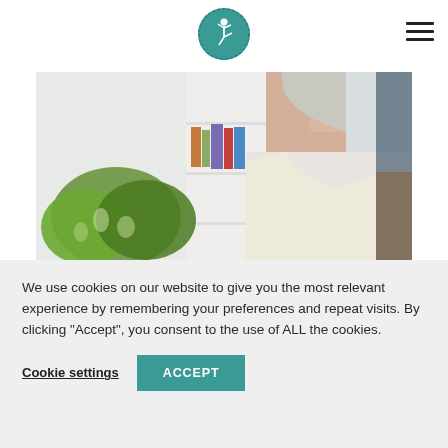[Figure (logo): Circular teal logo with a yoga/dancer figure silhouette in white on teal background with decorative border pattern]
[Figure (photo): A woman with gray hair wearing a white t-shirt, photographed from the side/behind, in a room with monstera plant and bookshelf in background]
We use cookies on our website to give you the most relevant experience by remembering your preferences and repeat visits. By clicking “Accept”, you consent to the use of ALL the cookies.
Cookie settings
ACCEPT